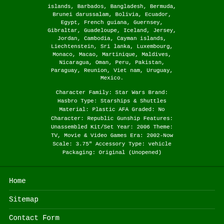islands, Barbados, Bangladesh, Bermuda, Brunei darussalam, Bolivia, Ecuador, Egypt, French guiana, Guernsey, Gibraltar, Guadeloupe, Iceland, Jersey, Jordan, Cambodia, Cayman islands, Liechtenstein, Sri lanka, Luxembourg, Monaco, Macao, Martinique, Maldives, Nicaragua, Oman, Peru, Pakistan, Paraguay, Reunion, Viet nam, Uruguay, Mexico.
Character Family: Star Wars Brand: Hasbro Type: Starships & Shuttles Material: Plastic AFA Graded: No Character: Republic Gunship Features: Unassembled Kit/Set Year: 2006 Theme: TV, Movie & Video Games Era: 2002-Now Scale: 3.75" Accessory Type: vehicle Packaging: Original (Unopened)
Home
Sitemap
Contact Form
Privacy Policies